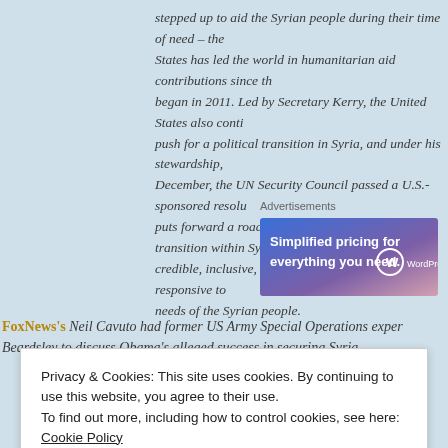stepped up to aid the Syrian people during their time of need – the States has led the world in humanitarian aid contributions since the began in 2011. Led by Secretary Kerry, the United States also conti push for a political transition in Syria, and under his stewardship, December, the UN Security Council passed a U.S.-sponsored resolu puts forward a roadmap that will facilitate a transition within Syri credible, inclusive, nonsectarian government that is responsive to needs of the Syrian people.
Advertisements
[Figure (other): WordPress.com advertisement banner: 'Simplified pricing for everything you need.']
FoxNews's Neil Cavuto had former US Army Special Operations exper Beardsley to discuss Obama's alleged success in securing Syria.
Privacy & Cookies: This site uses cookies. By continuing to use this website, you agree to their use.
To find out more, including how to control cookies, see here: Cookie Policy
Close and accept